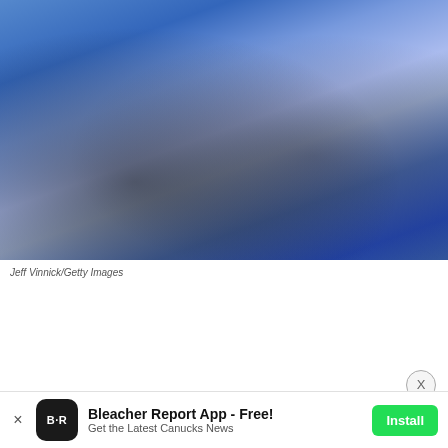[Figure (photo): Blurred sports photo with blue tones, showing people in blue attire, likely a hockey game crowd or players]
Jeff Vinnick/Getty Images
[Figure (screenshot): Progressive Insurance advertisement banner: 'WILL YOU ACCEPT This Rate?' with a person and 'Get a quote' button, with a close X button above]
Bleacher Report App - Free! Get the Latest Canucks News